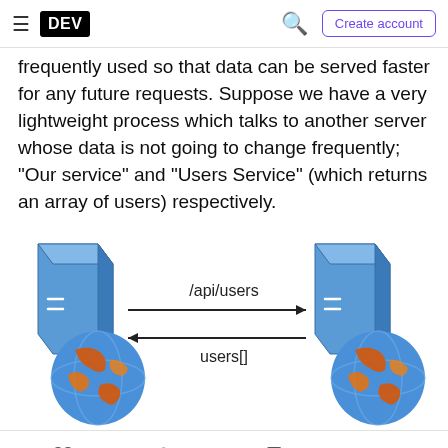DEV | Create account
frequently used so that data can be served faster for any future requests. Suppose we have a very lightweight process which talks to another server whose data is not going to change frequently; "Our service" and "Users Service" (which returns an array of users) respectively.
[Figure (infographic): Diagram showing two server icons with globe icons below them. An arrow labeled '/api/users' points from left server to right server, and an arrow labeled 'users[]' points back from right to left.]
4 likes, 2 comments, 3 saves